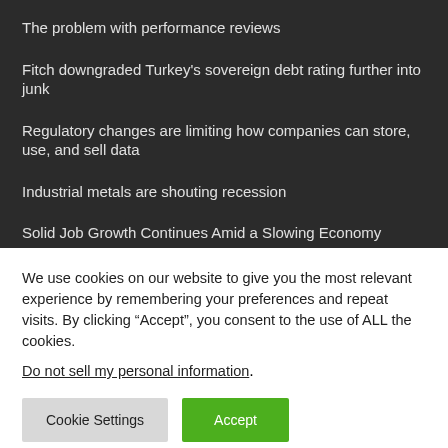The problem with performance reviews
Fitch downgraded Turkey's sovereign debt rating further into junk
Regulatory changes are limiting how companies can store, use, and sell data
Industrial metals are shouting recession
Solid Job Growth Continues Amid a Slowing Economy
We use cookies on our website to give you the most relevant experience by remembering your preferences and repeat visits. By clicking “Accept”, you consent to the use of ALL the cookies.
Do not sell my personal information.